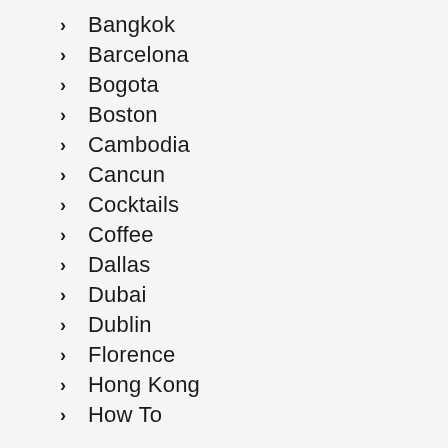Bangkok
Barcelona
Bogota
Boston
Cambodia
Cancun
Cocktails
Coffee
Dallas
Dubai
Dublin
Florence
Hong Kong
How To